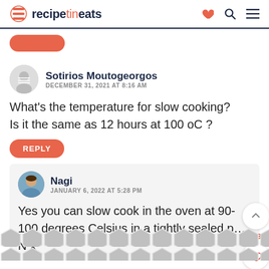recipetineats
Sotirios Moutogeorgos
DECEMBER 31, 2021 AT 8:16 AM
What's the temperature for slow cooking? Is it the same as 12 hours at 100 oC ?
REPLY
Nagi
JANUARY 6, 2022 AT 5:28 PM
Yes you can slow cook in the oven at 90-100 degrees Celsius in a tightly sealed p… N x
[Figure (infographic): Bottom advertisement strip with grey geometric hexagonal pattern]